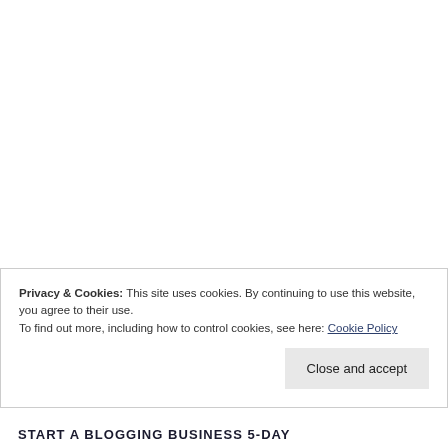Privacy & Cookies: This site uses cookies. By continuing to use this website, you agree to their use.
To find out more, including how to control cookies, see here: Cookie Policy
Close and accept
START A BLOGGING BUSINESS 5-DAY